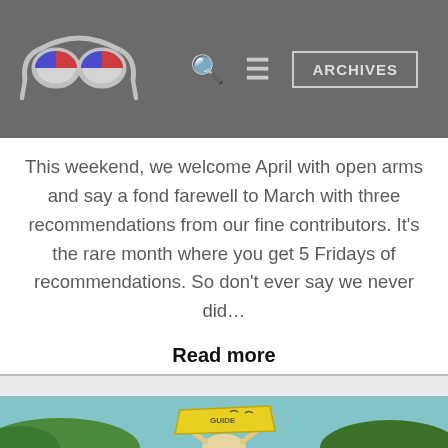ARCHIVES
This weekend, we welcome April with open arms and say a fond farewell to March with three recommendations from our fine contributors. It's the rare month where you get 5 Fridays of recommendations. So don't ever say we never did…
Read more
[Figure (photo): A person holding up a yellow sign/flag against a sky background with green foliage visible.]